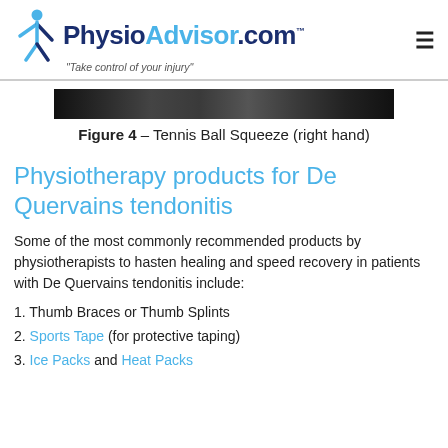PhysioAdvisor.com — Take control of your injury
[Figure (photo): Dark horizontal image strip showing a tennis ball squeeze exercise (right hand)]
Figure 4 – Tennis Ball Squeeze (right hand)
Physiotherapy products for De Quervains tendonitis
Some of the most commonly recommended products by physiotherapists to hasten healing and speed recovery in patients with De Quervains tendonitis include:
1. Thumb Braces or Thumb Splints
2. Sports Tape (for protective taping)
3. Ice Packs and Heat Packs